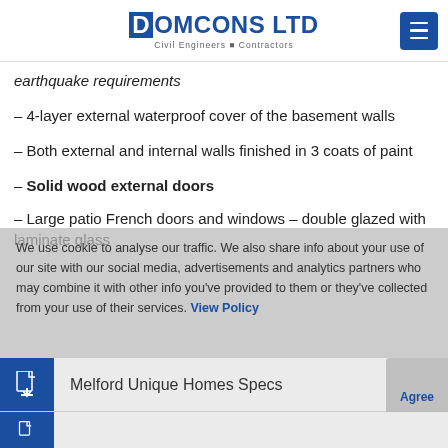[Figure (logo): Domcons LTD logo with text Civil Engineers - Contractors and blue hamburger menu button]
earthquake requirements
– 4-layer external waterproof cover of the basement walls
– Both external and internal walls finished in 3 coats of paint
– Solid wood external doors
– Large patio French doors and windows – double glazed with laminate glass
We use cookie to analyse our traffic. We also share info about your use of our site with our social media, advertisements and analytics partners who may combine it with other info you've provided to them or they've collected from your use of their services. View Policy
[Figure (other): Melford Unique Homes Specs PDF download button]
Agree